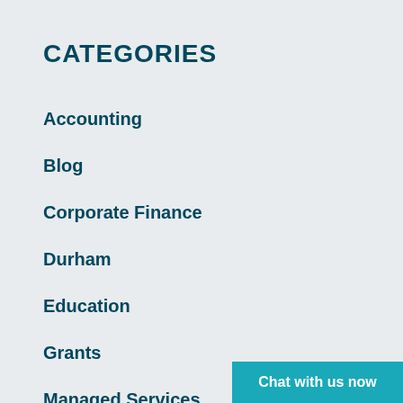CATEGORIES
Accounting
Blog
Corporate Finance
Durham
Education
Grants
Managed Services
Middlesbrough
Chat with us now